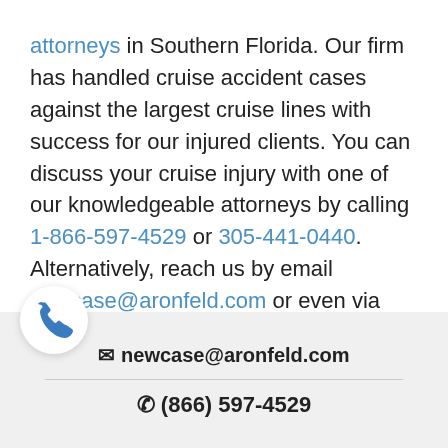attorneys in Southern Florida. Our firm has handled cruise accident cases against the largest cruise lines with success for our injured clients. You can discuss your cruise injury with one of our knowledgeable attorneys by calling 1-866-597-4529 or 305-441-0440. Alternatively, reach us by email newcase@aronfeld.com or even via SKYPE.
✉ newcase@aronfeld.com
☎ (866) 597-4529